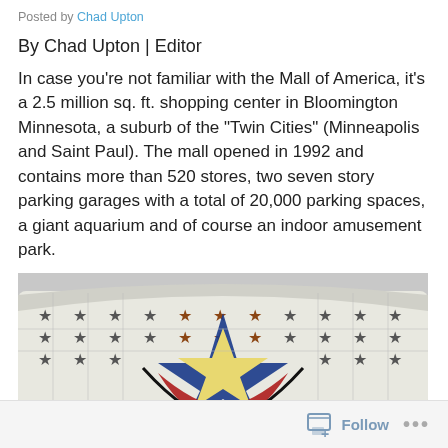Posted by Chad Upton
By Chad Upton | Editor
In case you’re not familiar with the Mall of America, it’s a 2.5 million sq. ft. shopping center in Bloomington Minnesota, a suburb of the “Twin Cities” (Minneapolis and Saint Paul). The mall opened in 1992 and contains more than 520 stores, two seven story parking garages with a total of 20,000 parking spaces, a giant aquarium and of course an indoor amusement park.
[Figure (photo): Exterior photo of the Mall of America building showing the star logo with blue, red, and yellow colors on a large curved facade with a grid of stars]
Follow ...